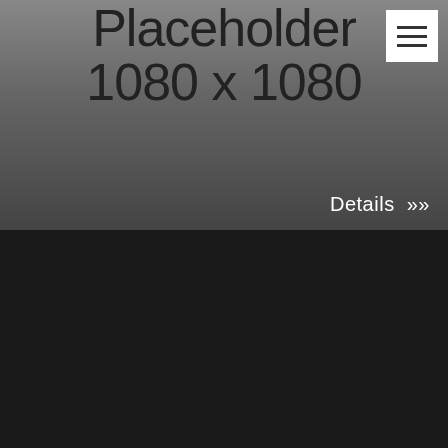[Figure (other): Gray placeholder image showing text 'Placeholder 1080 x 1080' with a Details >> link overlay and hamburger menu button in top right corner]
E-learning
Coding Course
$12
[Figure (other): Gray placeholder image showing partial text 'Placeholder' (bottom portion cut off)]